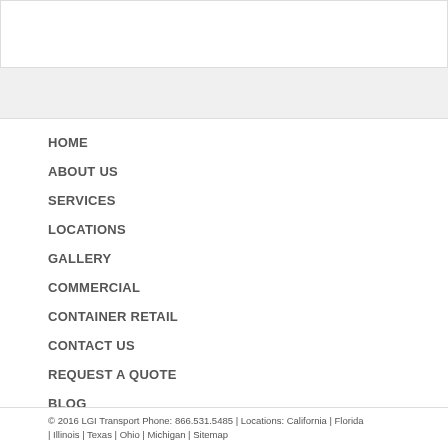HOME
ABOUT US
SERVICES
LOCATIONS
GALLERY
COMMERCIAL
CONTAINER RETAIL
CONTACT US
REQUEST A QUOTE
BLOG
© 2016 LGI Transport Phone: 866.531.5485 | Locations: California | Florida | Illinois | Texas | Ohio | Michigan | Sitemap